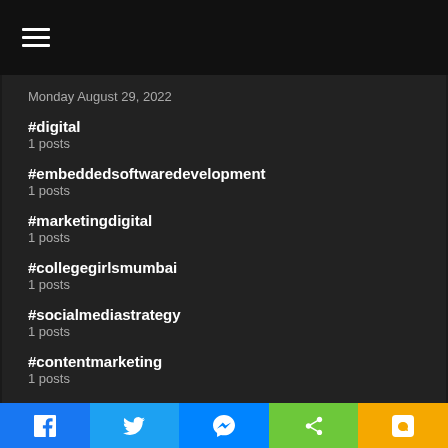≡
Monday August 29, 2022
#digital
1 posts
#embeddedsoftwaredevelopment
1 posts
#marketingdigital
1 posts
#collegegirlsmumbai
1 posts
#socialmediastrategy
1 posts
#contentmarketing
1 posts
#embedded
1 posts
#marketingagency
1 posts
#CallGirlsmumbai
1 posts
Facebook | Twitter | Messenger | Share | SMS